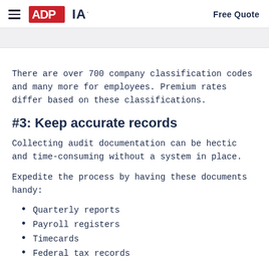ADP IA — Free Quote
There are over 700 company classification codes and many more for employees. Premium rates differ based on these classifications.
#3: Keep accurate records
Collecting audit documentation can be hectic and time-consuming without a system in place.
Expedite the process by having these documents handy:
Quarterly reports
Payroll registers
Timecards
Federal tax records